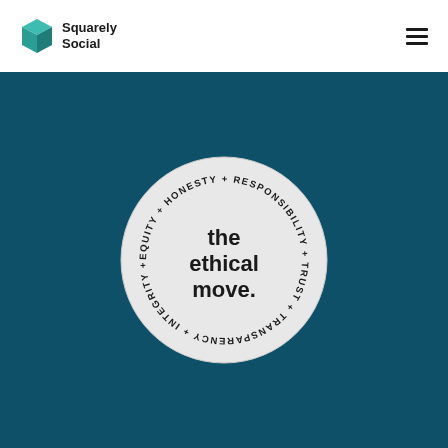Squarely Social
[Figure (logo): The Ethical Move circular badge/seal on a teal background with surrounding text: EQUITY + HONESTY + RESPONSIBILITY + TRUST + TRANSPARENCY + INTEGRITY reading around the circle edge, and 'the ethical move.' in bold in the center.]